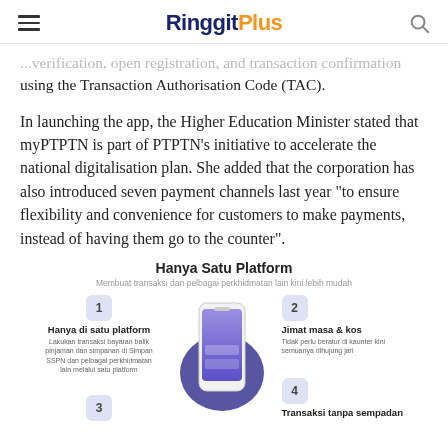RinggitPlus
...verification, open registration, and transaction confirmation using the Transaction Authorisation Code (TAC).
In launching the app, the Higher Education Minister stated that myPTPTN is part of PTPTN's initiative to accelerate the national digitalisation plan. She added that the corporation has also introduced seven payment channels last year "to ensure flexibility and convenience for customers to make payments, instead of having them go to the counter".
[Figure (infographic): Hanya Satu Platform infographic showing a phone in the center with 4 feature icons: 1. Hanya di satu platform, 2. Jimat masa & kos, 3. (partially visible), 4. Transaksi tanpa sempadan]
Hanya Satu Platform
Membuat transaksi dan pelbagai perkhidmatan lain kini lebih mudah